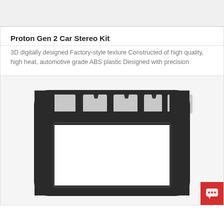Proton Gen 2 Car Stereo Kit
3D digitally designed Factory-style texture Constructed of high quality, high heat, automotive grade ABS plastic Designed with precision
[Figure (photo): A black plastic car stereo fascia/dash kit for Proton Gen 2, showing a rectangular frame with rounded corners, five clip tabs along the top edge, and a large central rectangular cutout for the stereo unit. The piece is photographed against a white background.]